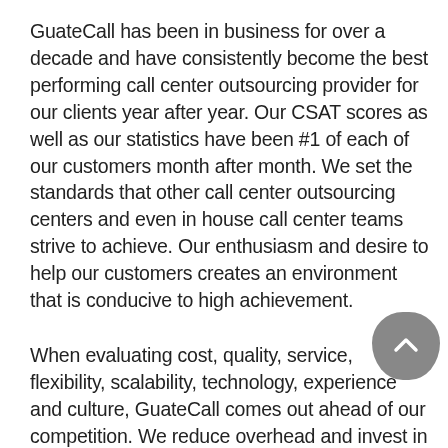GuateCall has been in business for over a decade and have consistently become the best performing call center outsourcing provider for our clients year after year. Our CSAT scores as well as our statistics have been #1 of each of our customers month after month. We set the standards that other call center outsourcing centers and even in house call center teams strive to achieve. Our enthusiasm and desire to help our customers creates an environment that is conducive to high achievement.
When evaluating cost, quality, service, flexibility, scalability, technology, experience and culture, GuateCall comes out ahead of our competition. We reduce overhead and invest in paying our employees hire salaries